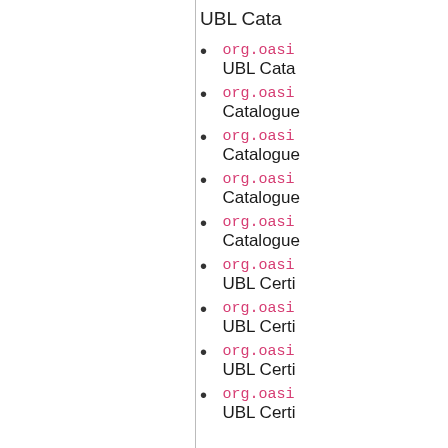UBL Cata
org.oasi
UBL Cata
org.oasi
Catalogue
org.oasi
Catalogue
org.oasi
Catalogue
org.oasi
Catalogue
org.oasi
UBL Certi
org.oasi
UBL Certi
org.oasi
UBL Certi
org.oasi
UBL Certi